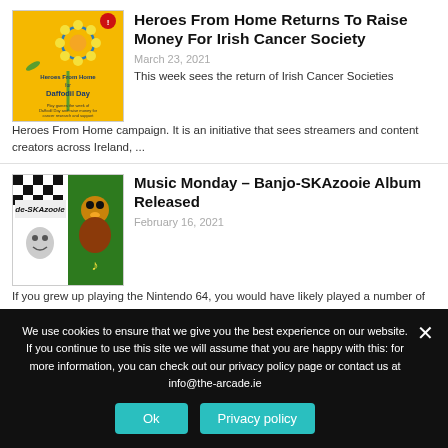[Figure (illustration): Daffodil Day Heroes From Home promotional image on yellow background]
Heroes From Home Returns To Raise Money For Irish Cancer Society
March 23, 2021
This week sees the return of Irish Cancer Societies Heroes From Home campaign. It is an initiative that sees streamers and content creators across Ireland, ...
[Figure (illustration): Music Monday Banjo-SKAzooie album artwork collage]
Music Monday – Banjo-SKAzooie Album Released
February 16, 2021
If you grew up playing the Nintendo 64, you would have likely played a number of the awesome Rare titles that released exclusively on the ...
We use cookies to ensure that we give you the best experience on our website. If you continue to use this site we will assume that you are happy with this: for more information, you can check out our privacy policy page or contact us at info@the-arcade.ie